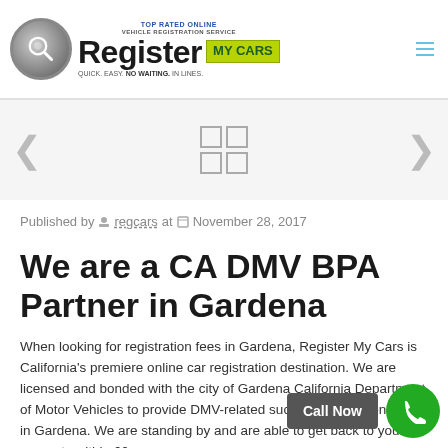[Figure (logo): Register My Cars logo with circular magnifying glass icon, 'TOP RATED ONLINE' text, 'Register' in large bold text, green 'MY CARS' badge, and tagline 'QUICK. EASY. NO WAITING. IN LINES.']
[Figure (other): Slider navigation area with left and right arrow buttons and a 2x2 grid icon in the center]
Published by regcars at November 28, 2017
We are a CA DMV BPA Partner in Gardena
When looking for registration fees in Gardena, Register My Cars is California's premiere online car registration destination. We are licensed and bonded with the city of Gardena California Department of Motor Vehicles to provide DMV-related such as registration fees in Gardena. We are standing by and are able to get back to your requests within 60
[Figure (other): Green circular Call Now button with phone icon, and a dark 'Call Now' label button]